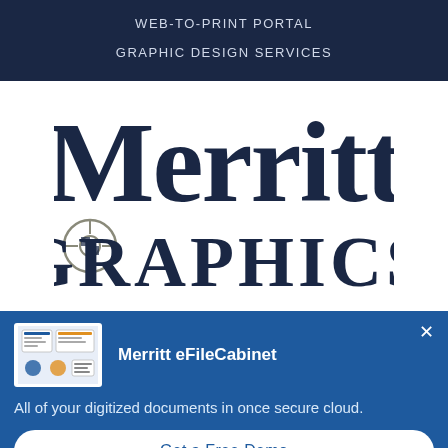WEB-TO-PRINT PORTAL
GRAPHIC DESIGN SERVICES
[Figure (logo): Merritt Graphics logo with large bold serif 'Merritt' text above, a crosshair/compass icon to the left of 'GRAPHICS' in navy blue and grey]
Merritt eFileCabinet
All of your digitized documents in once secure cloud.
Get a Free Demo